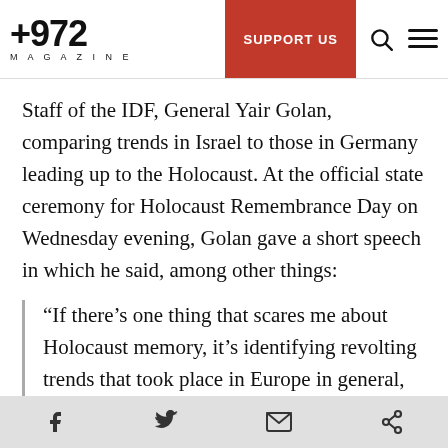+972 MAGAZINE | SUPPORT US
Staff of the IDF, General Yair Golan, comparing trends in Israel to those in Germany leading up to the Holocaust. At the official state ceremony for Holocaust Remembrance Day on Wednesday evening, Golan gave a short speech in which he said, among other things:
“If there’s one thing that scares me about Holocaust memory, it’s identifying revolting trends that took place in Europe in general, and Germany in particular, 70, 80, 90 years ago, and finding evidence of
Facebook | Twitter | Email | Share